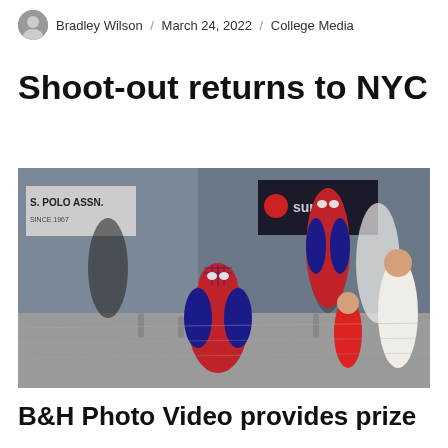Bradley Wilson / March 24, 2022 / College Media
Shoot-out returns to NYC
[Figure (photo): Street scene in New York City showing costumed Spider-Man characters posing with pedestrians. In the background a S. Polo Assn. storefront and sun signage are visible. People in winter clothing surround two Spider-Man costumed performers, one crouching and one standing, along with a small child in a red coat.]
B&H Photo Video provides prize